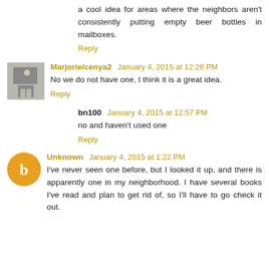a cool idea for areas where the neighbors aren't consistently putting empty beer bottles in mailboxes.
Reply
Marjorie/cenya2  January 4, 2015 at 12:28 PM
No we do not have one, I think it is a great idea.
Reply
bn100  January 4, 2015 at 12:57 PM
no and haven't used one
Reply
Unknown  January 4, 2015 at 1:22 PM
I've never seen one before, but I looked it up, and there is apparently one in my neighborhood. I have several books I've read and plan to get rid of, so I'll have to go check it out.